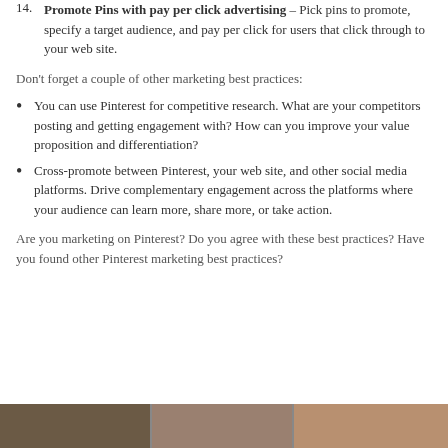14. Promote Pins with pay per click advertising – Pick pins to promote, specify a target audience, and pay per click for users that click through to your web site.
Don't forget a couple of other marketing best practices:
You can use Pinterest for competitive research. What are your competitors posting and getting engagement with? How can you improve your value proposition and differentiation?
Cross-promote between Pinterest, your web site, and other social media platforms. Drive complementary engagement across the platforms where your audience can learn more, share more, or take action.
Are you marketing on Pinterest? Do you agree with these best practices? Have you found other Pinterest marketing best practices?
[Figure (photo): A horizontal strip of photographs at the bottom of the page]